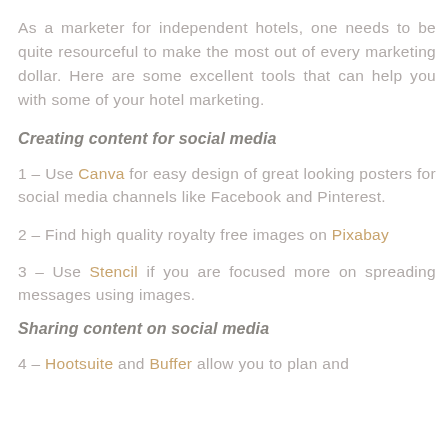As a marketer for independent hotels, one needs to be quite resourceful to make the most out of every marketing dollar. Here are some excellent tools that can help you with some of your hotel marketing.
Creating content for social media
1 – Use Canva for easy design of great looking posters for social media channels like Facebook and Pinterest.
2 – Find high quality royalty free images on Pixabay
3 – Use Stencil if you are focused more on spreading messages using images.
Sharing content on social media
4 – Hootsuite and Buffer allow you to plan and